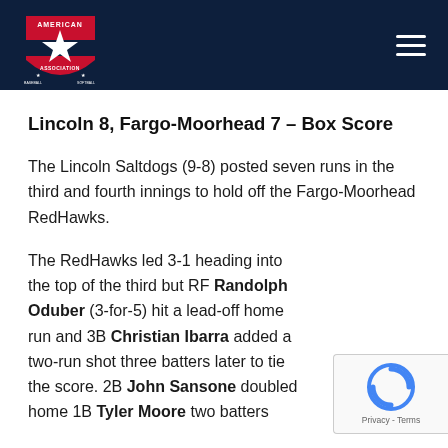American Association (logo) — navigation header
Lincoln 8, Fargo-Moorhead 7 – Box Score
The Lincoln Saltdogs (9-8) posted seven runs in the third and fourth innings to hold off the Fargo-Moorhead RedHawks.
The RedHawks led 3-1 heading into the top of the third but RF Randolph Oduber (3-for-5) hit a lead-off home run and 3B Christian Ibarra added a two-run shot three batters later to tie the score. 2B John Sansone doubled home 1B Tyler Moore two batters